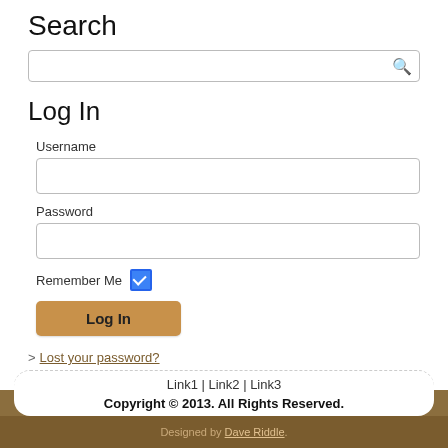Search
[Figure (screenshot): Search input box with a magnifying glass icon on the right]
Log In
Username
[Figure (screenshot): Username text input field]
Password
[Figure (screenshot): Password text input field]
Remember Me (checked checkbox)
[Figure (screenshot): Log In button (gold/brown colored)]
> Lost your password?
Link1 | Link2 | Link3
Copyright © 2013. All Rights Reserved.
Designed by Dave Riddle.